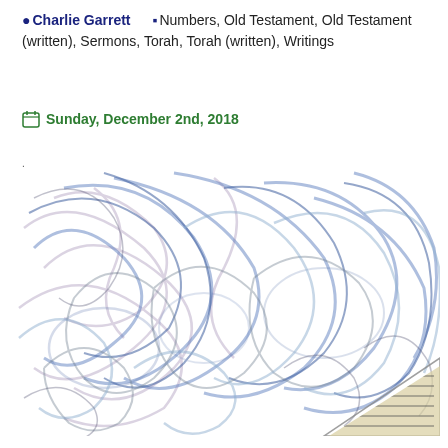Charlie Garrett   Numbers, Old Testament, Old Testament (written), Sermons, Torah, Torah (written), Writings
Sunday, December 2nd, 2018
[Figure (illustration): Abstract swirling blue, purple, and grey calligraphic or ribbon-like strokes on a white background, creating a chaotic overlapping pattern. At the bottom right corner there is a partial triangular image showing dense text or script.]